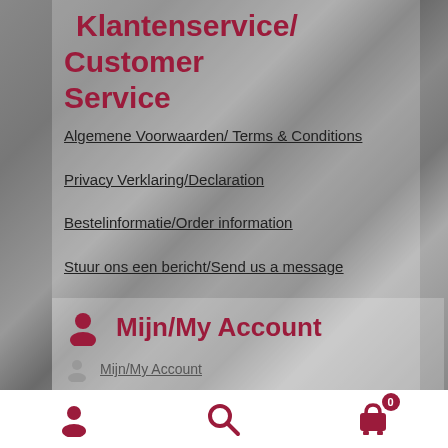Klantenservice/ Customer Service
Algemene Voorwaarden/ Terms & Conditions
Privacy Verklaring/Declaration
Bestelinformatie/Order information
Stuur ons een bericht/Send us a message
Mijn/My Account
Mijn/My Account
[Figure (screenshot): Bottom navigation toolbar with person icon, search icon, and shopping cart icon with badge showing 0]